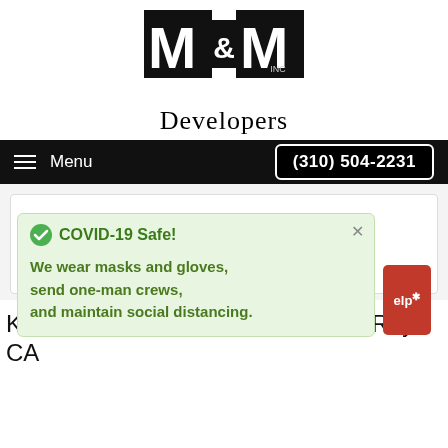[Figure (logo): M&M INC Developers logo — black block letters M&M with INC, and 'Developers' text below]
Menu  (310) 504-2231
✔ COVID-19 Safe!

We wear masks and gloves, send one-man crews, and maintain social distancing.
Kitchen Remodeling in Marina del Rey, CA